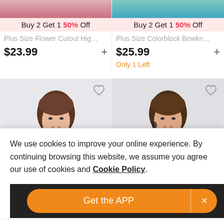[Figure (photo): Product image strip showing plus size swimwear top left (dark red/magenta bikini)]
Buy 2 Get 1 50% Off
Plus Size Flower Cutout Hig…
$23.99
[Figure (photo): Product image strip showing plus size swimwear top right (teal/turquoise swimsuit)]
Buy 2 Get 1 50% Off
Plus Size Colorblock Bowkn…
$25.99
Only 1 Left
[Figure (photo): Plus size model photo bottom left, brown hair, smiling, with heart wishlist icon overlay]
[Figure (photo): Plus size model photo bottom right, brown hair, with heart wishlist icon overlay]
We use cookies to improve your online experience. By continuing browsing this website, we assume you agree our use of cookies and Cookie Policy.
Get the APP